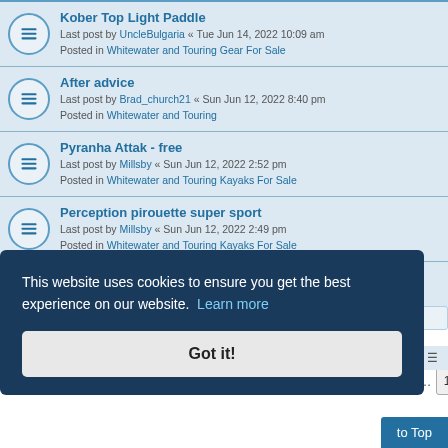Kober Top Light Paddle
Last post by UncleBulgaria « Tue Jun 14, 2022 10:09 am
Posted in Whitewater and Touring Gear For Sale
After advice
Last post by Brad_church21 « Sun Jun 12, 2022 8:40 pm
Posted in Whitewater and Touring
Pyranha Attak - free
Last post by Millsby « Sun Jun 12, 2022 2:52 pm
Posted in Whitewater and Touring Kayaks For Sale
Perception pirouette super sport
Last post by Millsby « Sun Jun 12, 2022 2:49 pm
Posted in Whitewater and Touring Kayaks For Sale
Dagger Axiom 6.9 Childs boat for sale
Last post by Millsby « Sun Jun 12, 2022 2:47 pm
Posted in Whitewater and Touring Kayaks For Sale
Search found more than 1000 matches
This website uses cookies to ensure you get the best experience on our website. Learn more
Got it!
to Top